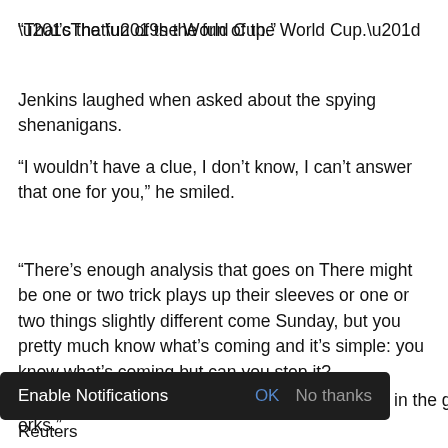“That’s the fun of the World Cup.”
Jenkins laughed when asked about the spying shenanigans.
“I wouldn’t have a clue, I don’t know, I can’t answer that one for you,” he smiled.
“There’s enough analysis that goes on There might be one or two trick plays up their sleeves or one or two things slightly different come Sunday, but you pretty much know what’s coming and it’s simple: you know what’s coming but can you stop it?
“The reality is you adapt to what’s in front of you in the game and try something different or something conventional that works.”
[Figure (screenshot): Dark notification bar overlay with text 'Enable Notifications' and buttons 'OK' and 'No thanks']
Reuters